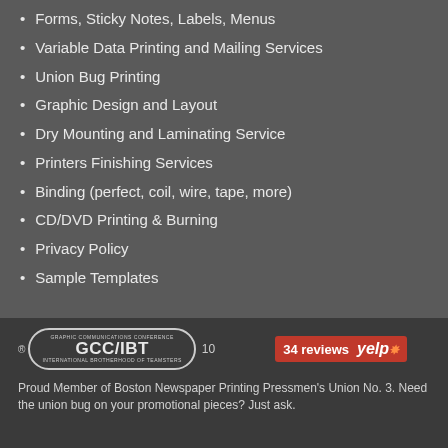Forms, Sticky Notes, Labels, Menus
Variable Data Printing and Mailing Services
Union Bug Printing
Graphic Design and Layout
Dry Mounting and Laminating Service
Printers Finishing Services
Binding (perfect, coil, wire, tape, more)
CD/DVD Printing & Burning
Privacy Policy
Sample Templates
[Figure (logo): GCC/IBT union label badge (oval shaped with text 'Graphic Communications Conference / Union GCC/IBT Label / International Brotherhood of Teamsters') with registration mark and '10', and Yelp '34 reviews' badge]
Proud Member of Boston Newspaper Printing Pressmen's Union No. 3. Need the union bug on your promotional pieces? Just ask.